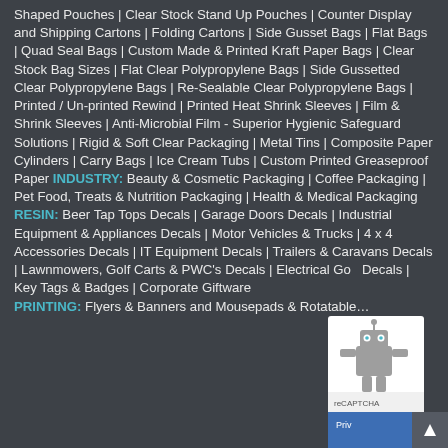Shaped Pouches | Clear Stock Stand Up Pouches | Counter Display and Shipping Cartons | Folding Cartons | Side Gusset Bags | Flat Bags | Quad Seal Bags | Custom Made & Printed Kraft Paper Bags | Clear Stock Bag Sizes | Flat Clear Polypropylene Bags | Side Gussetted Clear Polypropylene Bags | Re-Sealable Clear Polypropylene Bags | Printed / Un-printed Rewind | Printed Heat Shrink Sleeves | Film & Shrink Sleeves | Anti-Microbial Film - Superior Hygienic Safeguard Solutions | Rigid & Soft Clear Packaging | Metal Tins | Composite Paper Cylinders | Carry Bags | Ice Cream Tubs | Custom Printed Greaseproof Paper INDUSTRY: Beauty & Cosmetic Packaging | Coffee Packaging | Pet Food, Treats & Nutrition Packaging | Health & Medical Packaging RESIN: Beer Tap Tops Decals | Garage Doors Decals | Industrial Equipment & Appliances Decals | Motor Vehicles & Trucks | 4 x 4 Accessories Decals | IT Equipment Decals | Trailers & Caravans Decals | Lawnmowers, Golf Carts & PWC's Decals | Electrical Go Decals | Key Tags & Badges | Corporate Giftware PRINTING: Flyers & Banners and Mousepads & Rotatable...
[Figure (other): reCAPTCHA widget with robot icon and Privacy bar with scroll-to-top button overlay in bottom-right corner]